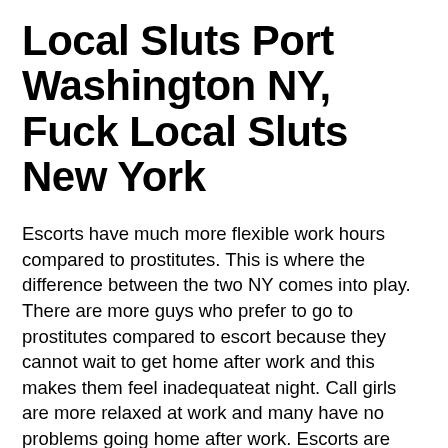Local Sluts Port Washington NY, Fuck Local Sluts New York
Escorts have much more flexible work hours compared to prostitutes. This is where the difference between the two NY comes into play. There are more guys who prefer to go to prostitutes compared to escort because they cannot wait to get home after work and this makes them feel inadequateat night. Call girls are more relaxed at work and many have no problems going home after work. Escorts are more disciplined and they make sure that they get home safely.
A lot of guys